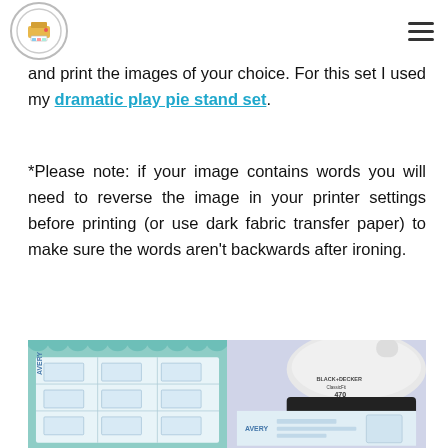[Logo] [Hamburger menu]
and print the images of your choice. For this set I used my dramatic play pie stand set.
*Please note: if your image contains words you will need to reverse the image in your printer settings before printing (or use dark fabric transfer paper) to make sure the words aren't backwards after ironing.
[Figure (photo): Two side-by-side photos: left shows Avery iron-on transfer paper sheets with printed designs on a teal/mint background; right shows a Black & Decker Classic 470 iron pressing Avery transfer paper.]